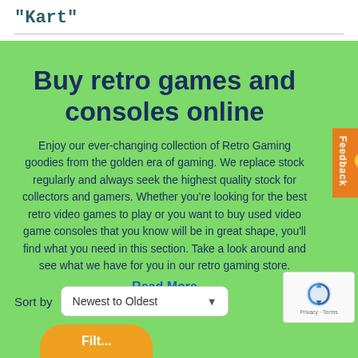"Kart"
Buy retro games and consoles online
Enjoy our ever-changing collection of Retro Gaming goodies from the golden era of gaming. We replace stock regularly and always seek the highest quality stock for collectors and gamers. Whether you're looking for the best retro video games to play or you want to buy used video game consoles that you know will be in great shape, you'll find what you need in this section. Take a look around and see what we have for you in our retro gaming store.
Read More
Sort by  Newest to Oldest